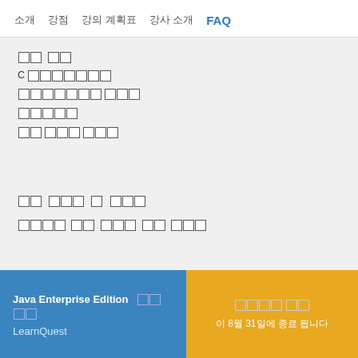소개   강점   강의 계획표   강사 소개   FAQ
강의 소개
C 언어의기초
프로그래밍 방법론
데이터구조
알고 리즘 및 응용
강의 목표 및 성과
다음과 같은 내용을 학습할 수 있을
Java Enterprise Edition 전문 교육
LearnQuest
무료로 시작 이 8월 31일에 종료 됩니다